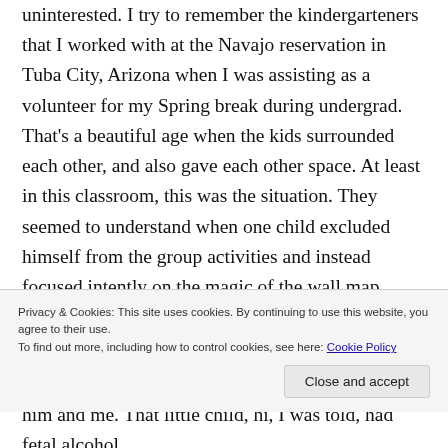uninterested. I try to remember the kindergarteners that I worked with at the Navajo reservation in Tuba City, Arizona when I was assisting as a volunteer for my Spring break during undergrad. That's a beautiful age when the kids surrounded each other, and also gave each other space. At least in this classroom, this was the situation. They seemed to understand when one child excluded himself from the group activities and instead focused intently on the magic of the wall map. They interpreted that he just wanted to do what he wanted to do. They didn't seem to need to make an excuse for him in their
Privacy & Cookies: This site uses cookies. By continuing to use this website, you agree to their use.
To find out more, including how to control cookies, see here: Cookie Policy
him and me. That little child, hi, I was told, had fetal alcohol